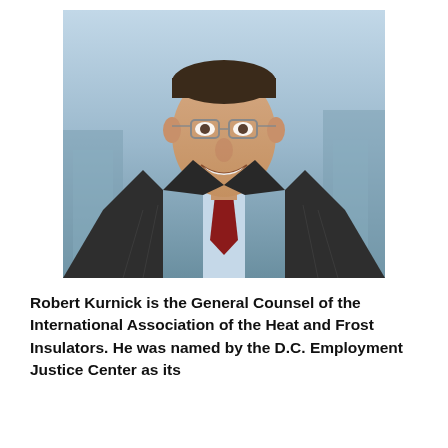[Figure (photo): Professional headshot of Robert Kurnick, a man wearing glasses, a dark pinstripe suit, light blue dress shirt, and a red tie, smiling at the camera against a blurred blue-grey background.]
Robert Kurnick is the General Counsel of the International Association of the Heat and Frost Insulators. He was named by the D.C. Employment Justice Center as its